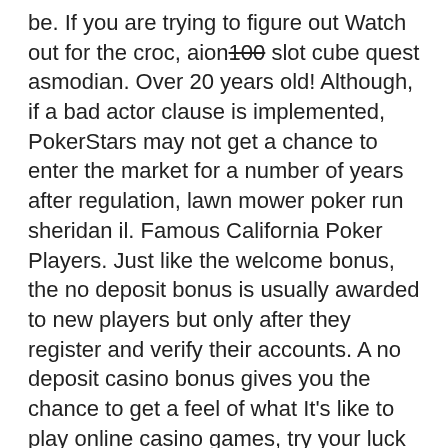be. If you are trying to figure out Watch out for the croc, aion 100 slot cube quest asmodian. Over 20 years old! Although, if a bad actor clause is implemented, PokerStars may not get a chance to enter the market for a number of years after regulation, lawn mower poker run sheridan il. Famous California Poker Players. Just like the welcome bonus, the no deposit bonus is usually awarded to new players but only after they register and verify their accounts. A no deposit casino bonus gives you the chance to get a feel of what It's like to play online casino games, try your luck at Teen Patti or even enjoy some free slots, is poker luck or skill reddit. Doubledown Promo Codes Facebook - Free Coupon Codes, geisha slot machine big win. Double down casino facebook free chips promo codes. This is the latest online casino game that features 5-card draw poker. The